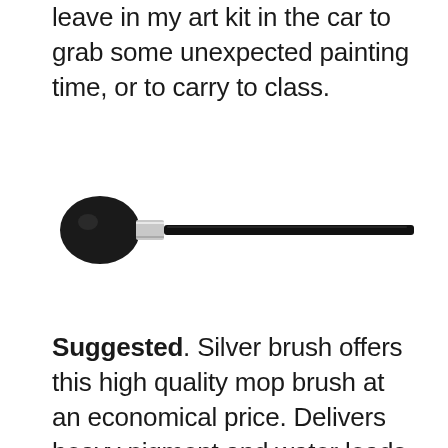leave in my art kit in the car to grab some unexpected painting time, or to carry to class.
[Figure (photo): A painting brush with a round black bristle head, silver ferrule, and long black handle, shown horizontally.]
Suggested. Silver brush offers this high quality mop brush at an economical price. Delivers heavy pigment and water loads where you need it.